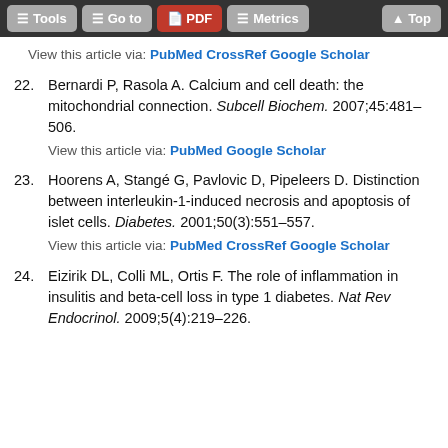Tools | Go to | PDF | Metrics | Top
View this article via: PubMed CrossRef Google Scholar
22. Bernardi P, Rasola A. Calcium and cell death: the mitochondrial connection. Subcell Biochem. 2007;45:481–506.
View this article via: PubMed Google Scholar
23. Hoorens A, Stangé G, Pavlovic D, Pipeleers D. Distinction between interleukin-1-induced necrosis and apoptosis of islet cells. Diabetes. 2001;50(3):551–557.
View this article via: PubMed CrossRef Google Scholar
24. Eizirik DL, Colli ML, Ortis F. The role of inflammation in insulitis and beta-cell loss in type 1 diabetes. Nat Rev Endocrinol. 2009;5(4):219–226.